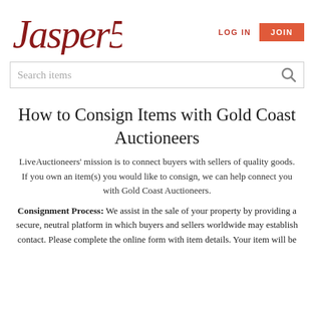[Figure (logo): Jasper52 logo in dark red italic script with number 52]
LOG IN   JOIN
Search items
How to Consign Items with Gold Coast Auctioneers
LiveAuctioneers' mission is to connect buyers with sellers of quality goods. If you own an item(s) you would like to consign, we can help connect you with Gold Coast Auctioneers.
Consignment Process: We assist in the sale of your property by providing a secure, neutral platform in which buyers and sellers worldwide may establish contact. Please complete the online form with item details. Your item will be